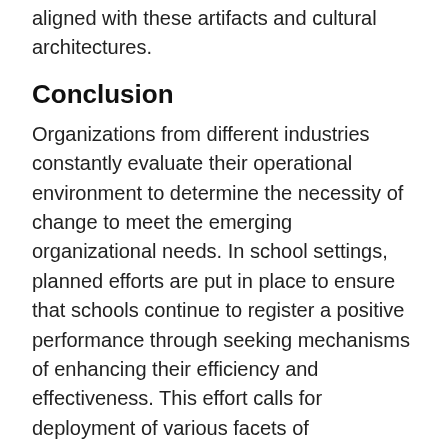aligned with these artifacts and cultural architectures.
Conclusion
Organizations from different industries constantly evaluate their operational environment to determine the necessity of change to meet the emerging organizational needs. In school settings, planned efforts are put in place to ensure that schools continue to register a positive performance through seeking mechanisms of enhancing their efficiency and effectiveness. This effort calls for deployment of various facets of organizational development including management and leadership.
The paper revealed that leadership is an organizational development facet, which can mitigate cultural conflicts when applied in schools by aligning all stakeholders to a common coherent culture defined by a school's vision, aim, and mission. This